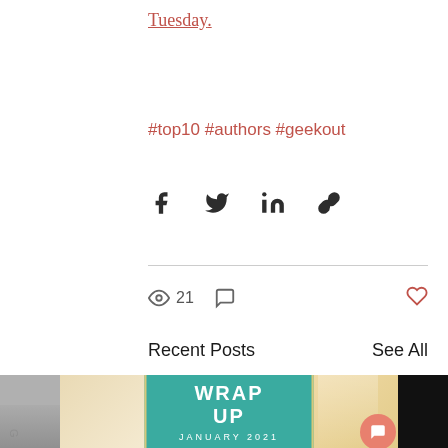Tuesday.
#top10 #authors #geekout
[Figure (other): Social share icons: Facebook, Twitter, LinkedIn, Link]
[Figure (other): Stats row: 21 views, comment icon, heart/like icon]
Recent Posts
See All
[Figure (photo): Three blog post thumbnails in a row. Center image shows a stack of open books with a teal overlay box reading WRAP UP / JANUARY 2021. Left image partially visible (dark/grey). Right image partially visible (dark/black). A salmon-colored chat bubble button overlays bottom-right.]